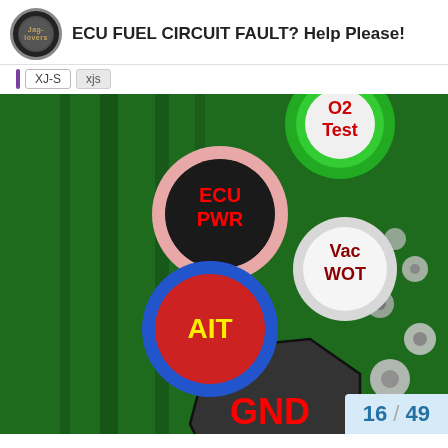ECU FUEL CIRCUIT FAULT? Help Please!
XJ-S  xjs
[Figure (photo): Close-up photograph of a green circuit board (ECU) with labeled test points annotated in red/yellow text: O2 Test (green circle), ECU PWR (pink/black circle), Vac WOT (gray circle), AIT (red circle with blue ring), GND (black outlined region). Solder joints and board traces visible.]
16 / 49